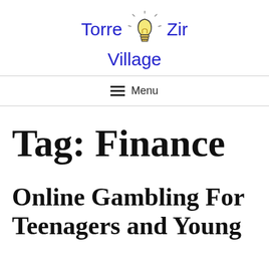Torre Zir Village
Menu
Tag: Finance
Online Gambling For Teenagers and Young